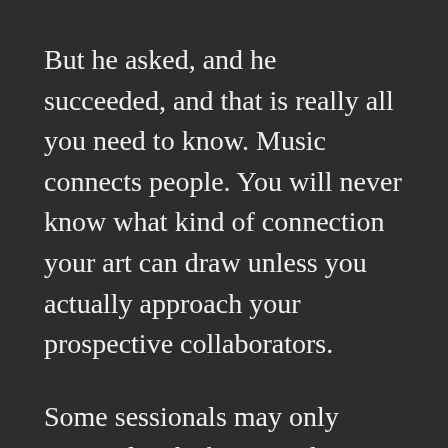But he asked, and he succeeded, and that is really all you need to know. Music connects people. You will never know what kind of connection your art can draw unless you actually approach your prospective collaborators.

Some sessionals may only materialize before you due to sheer luck, or because your producer has worked with them in the past. About half of the 16 musicians that played on my debut album are friends of mine; most of the other half are in some way associated with the studio